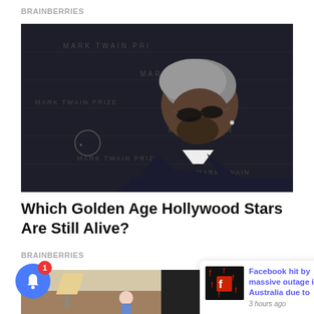BRAINBERRIES
[Figure (photo): Elderly man in dark suit and sunglasses looking down at a black event backdrop with text]
Which Golden Age Hollywood Stars Are Still Alive?
BRAINBERRIES
[Figure (photo): Partially visible second article image below]
[Figure (screenshot): Notification popup showing Facebook thumbnail with red icons and text: Facebook hit by massive outage in Australia due to — 3 hours ago]